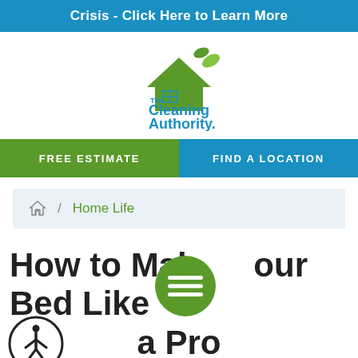Crisis - Click Here to Learn More
[Figure (logo): The Cleaning Authority logo with green house and leaf, blue text reading 'The Cleaning Authority' and tagline 'Clean Homes. Clean Earth.']
FREE ESTIMATE
FIND A LOCATION
Home Life
How to Make Your Bed Like a Pro